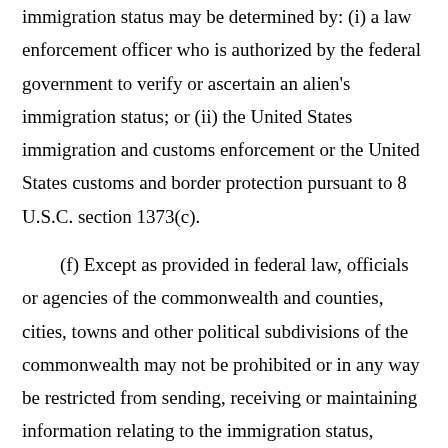immigration status may be determined by: (i) a law enforcement officer who is authorized by the federal government to verify or ascertain an alien's immigration status; or (ii) the United States immigration and customs enforcement or the United States customs and border protection pursuant to 8 U.S.C. section 1373(c).
(f) Except as provided in federal law, officials or agencies of the commonwealth and counties, cities, towns and other political subdivisions of the commonwealth may not be prohibited or in any way be restricted from sending, receiving or maintaining information relating to the immigration status, lawful or unlawful, of any individual or exchanging that information with any other federal, state or local governmental entity for the following official purposes: (i) determining eligibility for any public benefit, service